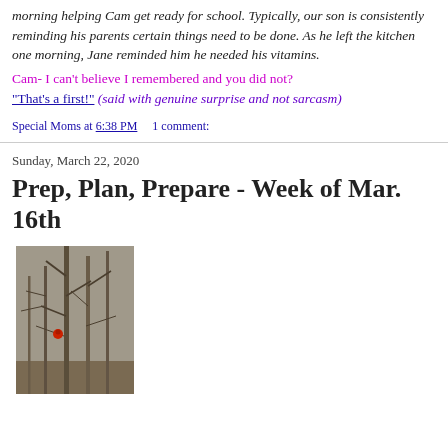morning helping Cam get ready for school. Typically, our son is consistently reminding his parents certain things need to be done. As he left the kitchen one morning, Jane reminded him he needed his vitamins.
Cam- I can't believe I remembered and you did not?
"That's a first!" (said with genuine surprise and not sarcasm)
Special Moms at 6:38 PM    1 comment:
Sunday, March 22, 2020
Prep, Plan, Prepare - Week of Mar. 16th
[Figure (photo): A winter forest scene with bare trees, a red bird visible on a branch]